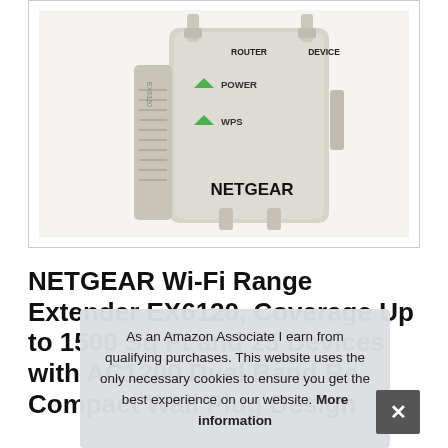[Figure (photo): Photo of a NETGEAR Wi-Fi Range Extender device (model EX6120) showing the front and side panels with LED indicators labeled ROUTER, DEVICE, POWER, WPS, and the NETGEAR brand name on the front.]
NETGEAR Wi-Fi Range Extender EX6120, Coverage Up to 1500 Sq Ft and 25 Devices with AC1200 Dual Band Wireless Signal Booster & Repeater, Compact Wall Plug Design
As an Amazon Associate I earn from qualifying purchases. This website uses the only necessary cookies to ensure you get the best experience on our website. More information